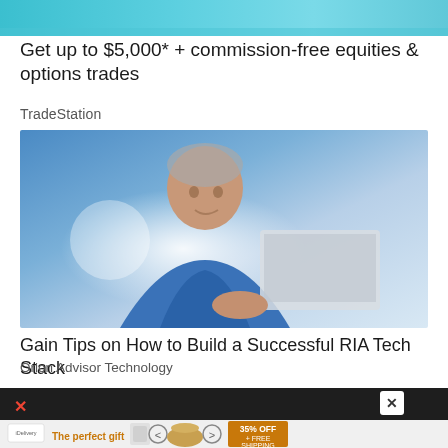[Figure (photo): Teal/blue abstract background image, cropped advertisement banner at top]
Get up to $5,000* + commission-free equities & options trades
TradeStation
[Figure (photo): Middle-aged man in blue shirt working at a laptop, looking focused, bright indoor setting]
Gain Tips on How to Build a Successful RIA Tech Stack
Orion Advisor Technology
[Figure (photo): Dark advertisement block with close button (X) and banner ad showing 'The perfect gift' with bowl imagery and '35% OFF + FREE SHIPPING' offer]